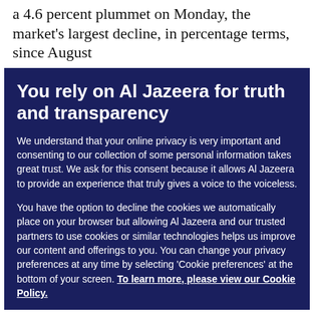a 4.6 percent plummet on Monday, the market's largest decline, in percentage terms, since August
You rely on Al Jazeera for truth and transparency
We understand that your online privacy is very important and consenting to our collection of some personal information takes great trust. We ask for this consent because it allows Al Jazeera to provide an experience that truly gives a voice to the voiceless.

You have the option to decline the cookies we automatically place on your browser but allowing Al Jazeera and our trusted partners to use cookies or similar technologies helps us improve our content and offerings to you. You can change your privacy preferences at any time by selecting 'Cookie preferences' at the bottom of your screen. To learn more, please view our Cookie Policy.